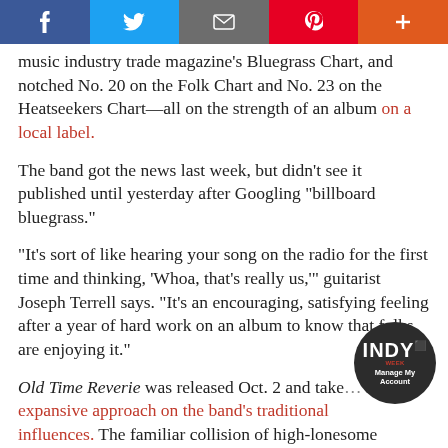[Figure (other): Social media sharing bar with Facebook, Twitter, email, Pinterest, and plus buttons]
music industry trade magazine's Bluegrass Chart, and notched No. 20 on the Folk Chart and No. 23 on the Heatseekers Chart—all on the strength of an album on a local label.
The band got the news last week, but didn't see it published until yesterday after Googling "billboard bluegrass."
"It's sort of like hearing your song on the radio for the first time and thinking, 'Whoa, that's really us,'" guitarist Joseph Terrell says. "It's an encouraging, satisfying feeling after a year of hard work on an album to know that folks are enjoying it."
Old Time Reverie was released Oct. 2 and takes a more expansive approach on the band's traditional influences. The familiar collision of high-lonesome